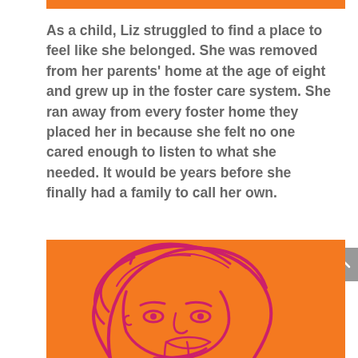As a child, Liz struggled to find a place to feel like she belonged. She was removed from her parents' home at the age of eight and grew up in the foster care system. She ran away from every foster home they placed her in because she felt no one cared enough to listen to what she needed. It would be years before she finally had a family to call her own.
[Figure (illustration): Illustration of a woman's face with pink/magenta line art on an orange background, showing hair pulled back and facial features in a simple stylized drawing style.]